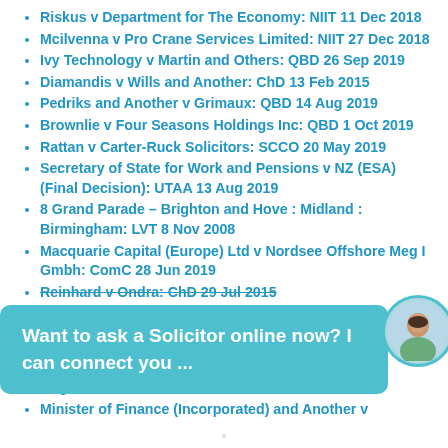Riskus v Department for The Economy: NIIT 11 Dec 2018
Mcilvenna v Pro Crane Services Limited: NIIT 27 Dec 2018
Ivy Technology v Martin and Others: QBD 26 Sep 2019
Diamandis v Wills and Another: ChD 13 Feb 2015
Pedriks and Another v Grimaux: QBD 14 Aug 2019
Brownlie v Four Seasons Holdings Inc: QBD 1 Oct 2019
Rattan v Carter-Ruck Solicitors: SCCO 20 May 2019
Secretary of State for Work and Pensions v NZ (ESA) (Final Decision): UTAA 13 Aug 2019
8 Grand Parade – Brighton and Hove : Midland : Birmingham: LVT 8 Nov 2008
Macquarie Capital (Europe) Ltd v Nordsee Offshore Meg I Gmbh: ComC 28 Jun 2019
Reinhard v Ondra: ChD 29 Jul 2015
[Figure (photo): Chat overlay with solicitor avatar. Text reads: 'Want to ask a Solicitor online now? I can connect you ...' with a circular photo of a woman.]
Aug 2013
Minister of Finance (Incorporated) and Another v